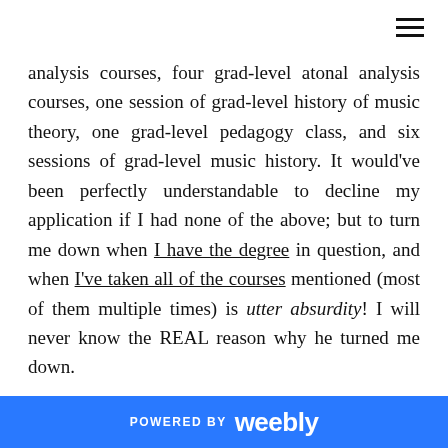analysis courses, four grad-level atonal analysis courses, one session of grad-level history of music theory, one grad-level pedagogy class, and six sessions of grad-level music history. It would've been perfectly understandable to decline my application if I had none of the above; but to turn me down when I have the degree in question, and when I've taken all of the courses mentioned (most of them multiple times) is utter absurdity! I will never know the REAL reason why he turned me down.
Giving up on academia, I decided to go my own way. In June 2015, I upped my Beatles scholarship to a full-time
POWERED BY weebly